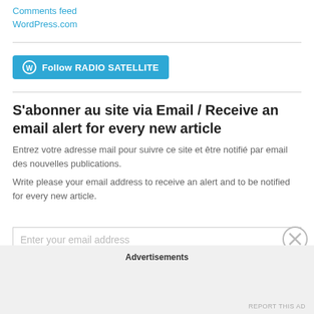Comments feed
WordPress.com
[Figure (other): Follow RADIO SATELLITE button with WordPress logo icon, blue background]
S'abonner au site via Email / Receive an email alert for every new article
Entrez votre adresse mail pour suivre ce site et être notifié par email des nouvelles publications.
Write please your email address to receive an alert and to be notified for every new article.
Enter your email address
Advertisements